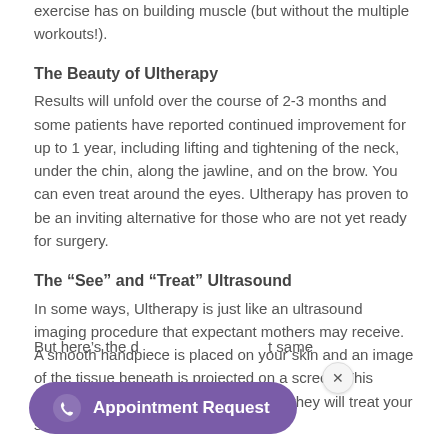exercise has on building muscle (but without the multiple workouts!).
The Beauty of Ultherapy
Results will unfold over the course of 2-3 months and some patients have reported continued improvement for up to 1 year, including lifting and tightening of the neck, under the chin, along the jawline, and on the brow. You can even treat around the eyes. Ultherapy has proven to be an inviting alternative for those who are not yet ready for surgery.
The “See” and “Treat” Ultrasound
In some ways, Ultherapy is just like an ultrasound imaging procedure that expectant mothers may receive. A smooth handpiece is placed on your skin and an image of the tissue beneath is projected on a screen. This allows your practitioner to “see” where they will treat your skin.
But here’s the d… [partially obscured] …t same